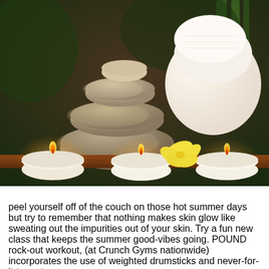[Figure (photo): Spa scene with stacked stones, lit candles on a wooden tray, a white rolled towel, yellow orchid flower, and green bamboo background. Overlaid with 'Best Spas Guide in Montreal' logo text in purple cursive with a purple flower icon.]
peel yourself off of the couch on those hot summer days but try to remember that nothing makes skin glow like sweating out the impurities out of your skin. Try a fun new class that keeps the summer good-vibes going. POUND rock-out workout, (at Crunch Gyms nationwide) incorporates the use of weighted drumsticks and never-for-it-to-mature...